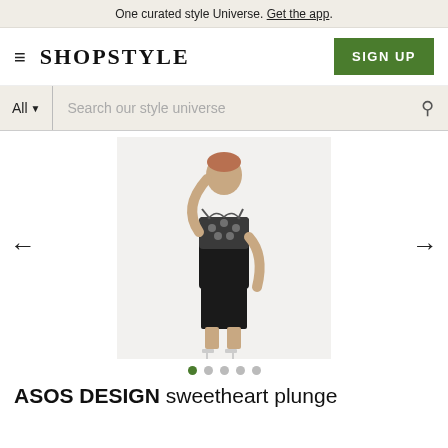One curated style Universe. Get the app.
[Figure (logo): ShopStyle navigation bar with hamburger menu icon, SHOPSTYLE logo, and green SIGN UP button]
[Figure (screenshot): Search bar with 'All' dropdown and 'Search our style universe' placeholder text and search icon]
[Figure (photo): Product photo: a model wearing an ASOS DESIGN black midi dress with sweetheart plunge neckline and embellished bodice, standing against a white background. Left and right navigation arrows visible. Five pagination dots below with first dot green.]
ASOS DESIGN sweetheart plunge